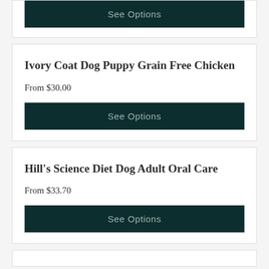See Options
Ivory Coat Dog Puppy Grain Free Chicken
From $30.00
See Options
Hill's Science Diet Dog Adult Oral Care
From $33.70
See Options